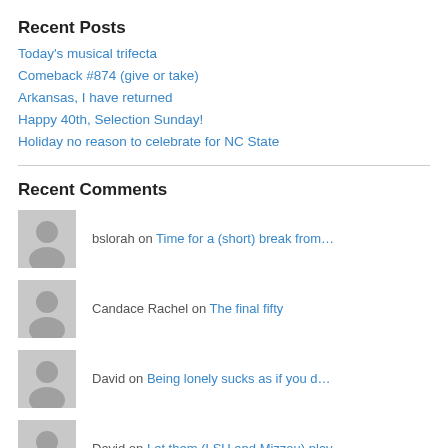Recent Posts
Today's musical trifecta
Comeback #874 (give or take)
Arkansas, I have returned
Happy 40th, Selection Sunday!
Holiday no reason to celebrate for NC State
Recent Comments
bslorah on Time for a (short) break from…
Candace Rachel on The final fifty
David on Being lonely sucks as if you d…
David on Let them (LSU and Mizzou) play…